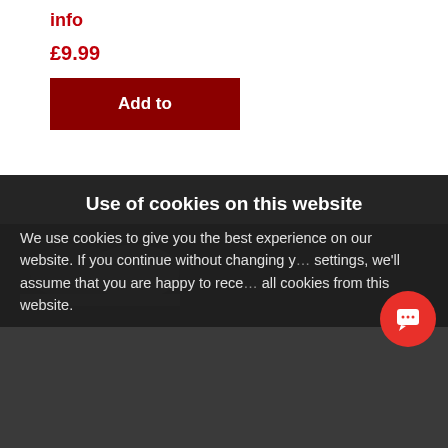info
£9.99
Add to
[Figure (logo): Partial logo mark visible in grey/white on dark background]
Use of cookies on this website
We use cookies to give you the best experience on our website. If you continue without changing y... settings, we'll assume that you are happy to rece... all cookies from this website.